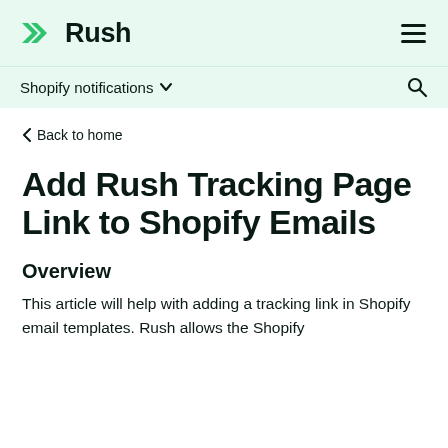Rush
Shopify notifications
< Back to home
Add Rush Tracking Page Link to Shopify Emails
Overview
This article will help with adding a tracking link in Shopify email templates. Rush allows the Shopify